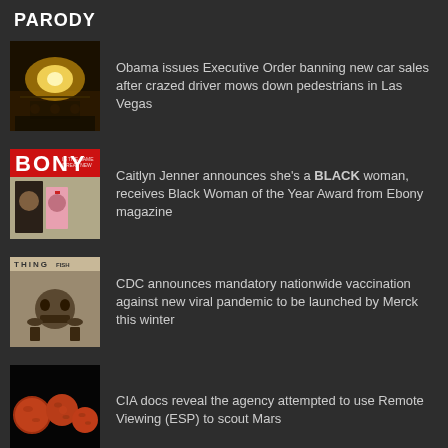PARODY
Obama issues Executive Order banning new car sales after crazed driver mows down pedestrians in Las Vegas
Caitlyn Jenner announces she's a BLACK woman, receives Black Woman of the Year Award from Ebony magazine
CDC announces mandatory nationwide vaccination against new viral pandemic to be launched by Merck this winter
CIA docs reveal the agency attempted to use Remote Viewing (ESP) to scout Mars